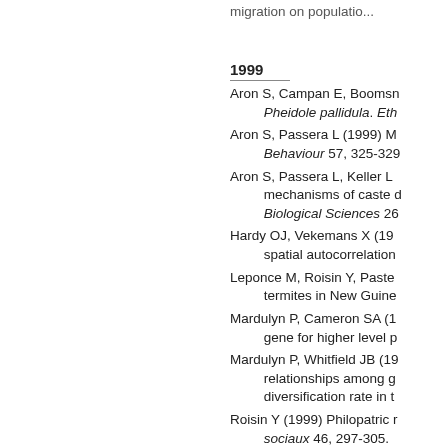migration on populatio...
1999
Aron S, Campan E, Booms... Pheidole pallidula. Eth...
Aron S, Passera L (1999) M... Behaviour 57, 325-329...
Aron S, Passera L, Keller L ... mechanisms of caste d... Biological Sciences 26...
Hardy OJ, Vekemans X (19... spatial autocorrelation...
Leponce M, Roisin Y, Paste... termites in New Guine...
Mardulyn P, Cameron SA (1... gene for higher level p...
Mardulyn P, Whitfield JB (19... relationships among g... diversification rate in t...
Roisin Y (1999) Philopatric r... sociaux 46, 297-305.
Roisin Y, Lenz M (1999) Ca... headed by primary rep...